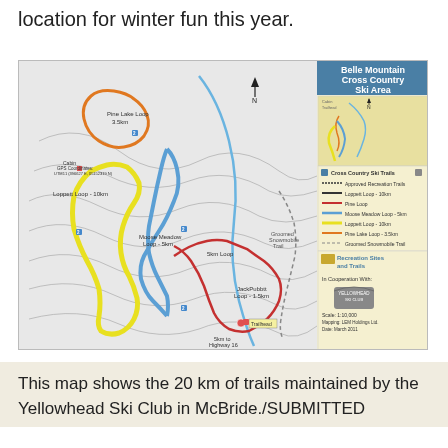location for winter fun this year.
[Figure (map): Belle Mountain Cross Country Ski Area trail map showing Pine Lake Loop 3.5km, Loppett Loop 10km, Moose Meadow Loop 5km, 5km Loop, JackPubbtt Loop 1.5km, Groomed Snowmobile Trail. Trails shown in orange, blue, yellow, red/maroon. Legend panel with minimap, trail key, Recreation Sites and Trails logo, Yellowhead Ski Club logo, Scale 1:10,000.]
This map shows the 20 km of trails maintained by the Yellowhead Ski Club in McBride./SUBMITTED